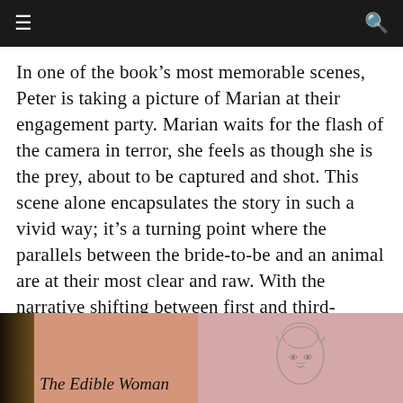≡  🔍
In one of the book's most memorable scenes, Peter is taking a picture of Marian at their engagement party. Marian waits for the flash of the camera in terror, she feels as though she is the prey, about to be captured and shot. This scene alone encapsulates the story in such a vivid way; it's a turning point where the parallels between the bride-to-be and an animal are at their most clear and raw. With the narrative shifting between first and third-person, we get a deeper understanding of how Marian loses her sense of agency, and how, in a final, triumphant move, regains it once again.
[Figure (photo): Book cover of 'The Edible Woman' with a dark spine accent and pink/salmon background, partially visible on the left side of the bottom row]
[Figure (photo): A sketch or illustration of a woman's face on a pink background, partially visible on the right side of the bottom row]